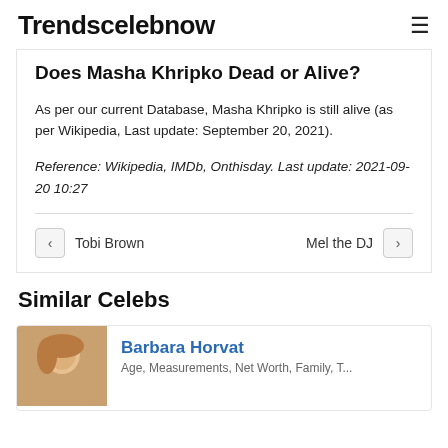Trendscelebnow
Does Masha Khripko Dead or Alive?
As per our current Database, Masha Khripko is still alive (as per Wikipedia, Last update: September 20, 2021).
Reference: Wikipedia, IMDb, Onthisday. Last update: 2021-09-20 10:27
Tobi Brown
Mel the DJ
Similar Celebs
Barbara Horvat